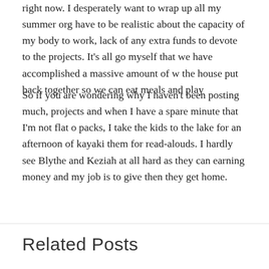right now. I desperately want to wrap up all my summer org have to be realistic about the capacity of my body to work, lack of any extra funds to devote to the projects. It's all go myself that we have accomplished a massive amount of w the house put back together so we can eat meals and play
So if you are wondering why I haven't been posting much, projects and when I have a spare minute that I'm not flat o packs, I take the kids to the lake for an afternoon of kayaki them for read-alouds. I hardly see Blythe and Keziah at all hard as they can earning money and my job is to give then they get home.
Related Posts